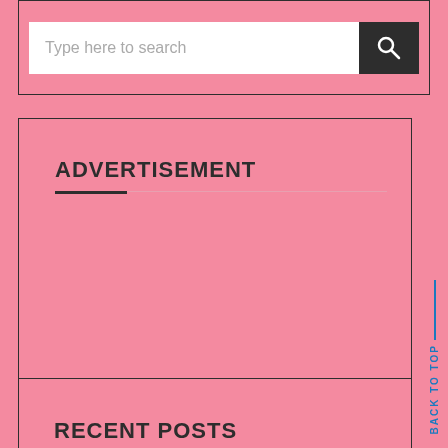[Figure (screenshot): Search bar with text placeholder 'Type here to search' and a dark search button with magnifying glass icon]
ADVERTISEMENT
RECENT POSTS
BACK TO TOP